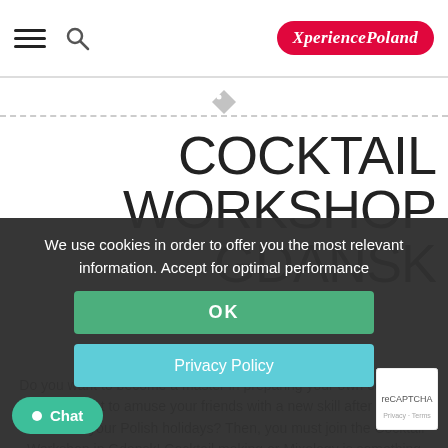XperiencePoland — navigation bar with hamburger menu, search icon, and logo
COCKTAIL WORKSHOP GDANSK
Do you want to become a master in preparing your own cocktails? Do you want to amuse your friends with a new skill after coming back from your Polish holidays? Then, you must join the Cocktail Workshop in Gdansk! Cocktail making or Mixology is something that everyone can enjoy. [...] First, our professional bartenders will show
We use cookies in order to offer you the most relevant information. Accept for optimal performance
OK
Privacy Policy
Chat